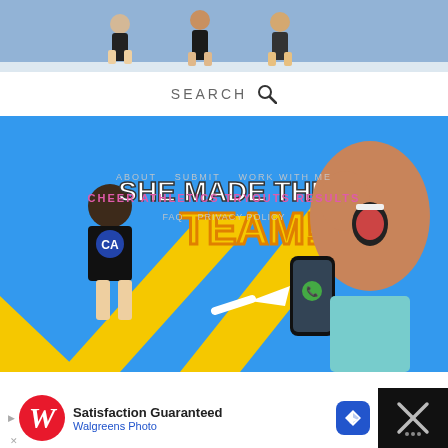[Figure (screenshot): Top portion of a webpage showing cheerleaders in blue background at the top]
SEARCH
[Figure (screenshot): Video thumbnail: SHE MADE THE TEAM - Cheer Athletics Tryouts Results, showing a girl in cheer uniform and a girl reacting to a phone call]
ABOUT  SUBMIT  WORK WITH ME
CHEER ATHLETICS TRYOUTS RESULTS
FAQ  PRIVACY POLICY
[Figure (screenshot): Bottom portion of webpage showing a red bird cutout and a pug sticker in a room]
Satisfaction Guaranteed
Walgreens Photo